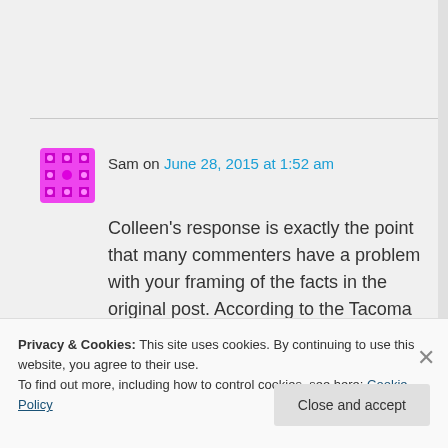Sam on June 28, 2015 at 1:52 am
Colleen's response is exactly the point that many commenters have a problem with your framing of the facts in the original post. According to the Tacoma PD and the notes (from the aforementioned iPod), the
Privacy & Cookies: This site uses cookies. By continuing to use this website, you agree to their use.
To find out more, including how to control cookies, see here: Cookie Policy
Close and accept